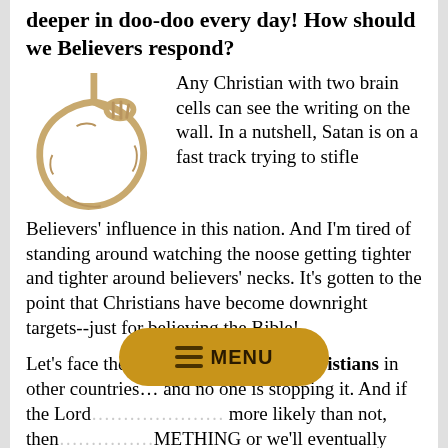…do not to realize this country is getting deeper in doo-doo every day! How should we Believers respond?
[Figure (illustration): A rope tied in a hangman's noose knot, light tan/beige color against white background]
Any Christian with two brain cells can see the writing on the wall. In a nutshell, Satan is on a fast track trying to stifle Believers' influence in this nation. And I'm tired of standing around watching the noose getting tighter and tighter around believers' necks. It's gotten to the point that Christians have become downright targets--just for believing the Bible!
Let's face the facts, they're killing Christians in other countries… and no one is stopping it. And if the Lord… more likely than not, then… METHING or we'll eventually find ourselves where just…